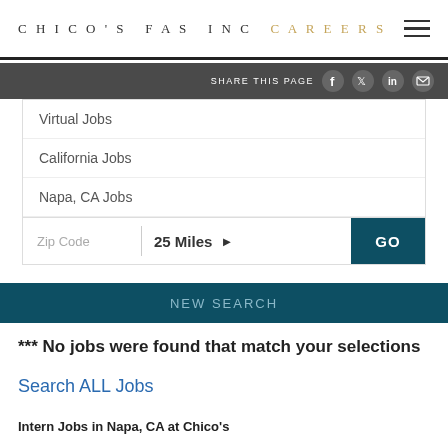CHICO'S FAS INC CAREERS
SHARE THIS PAGE
Virtual Jobs
California Jobs
Napa, CA Jobs
Zip Code   25 Miles   GO
NEW SEARCH
*** No jobs were found that match your selections
Search ALL Jobs
Intern Jobs in Napa, CA at Chico's